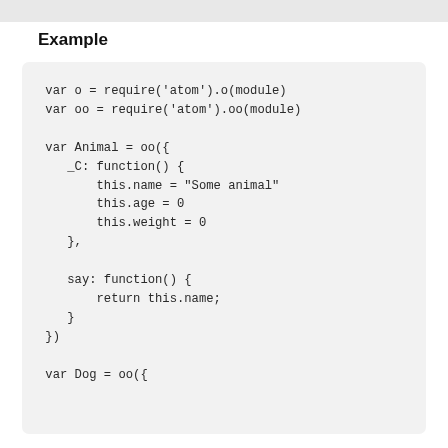Example
var o = require('atom').o(module)
var oo = require('atom').oo(module)

var Animal = oo({
    _C: function() {
        this.name = "Some animal"
        this.age = 0
        this.weight = 0
    },

    say: function() {
        return this.name;
    }
})

var Dog = oo({